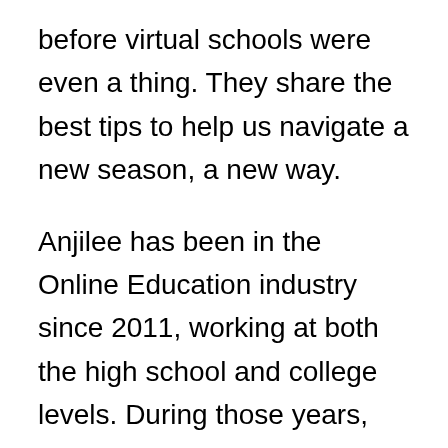before virtual schools were even a thing. They share the best tips to help us navigate a new season, a new way.

Anjilee has been in the Online Education industry since 2011, working at both the high school and college levels. During those years, she has worked with numerous students, residential treatment centers, and curriculum